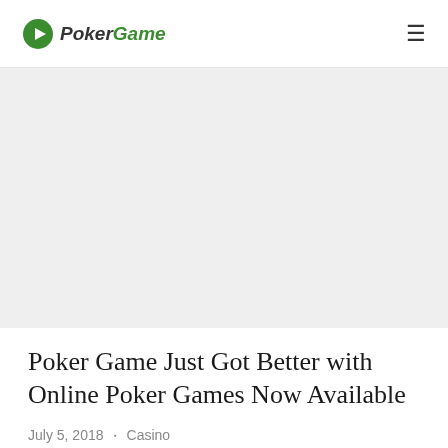PokerGame
[Figure (photo): Large banner image area, light gray placeholder]
Poker Game Just Got Better with Online Poker Games Now Available
July 5, 2018 · Casino